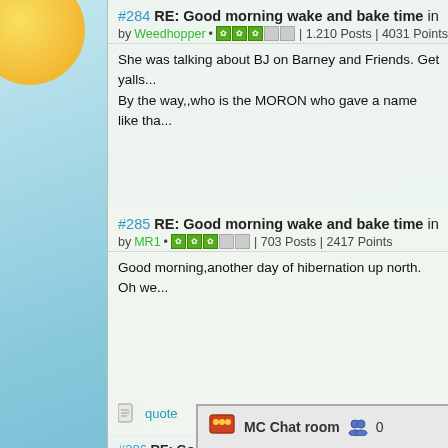#284 RE: Good morning wake and bake time in Just say... by Weedhopper | 1.210 Posts | 4031 Points
She was talking about BJ on Barney and Friends. Get yalls...
By the way,,who is the MORON who gave a name like tha...
#285 RE: Good morning wake and bake time in Just say... by MR1 | 703 Posts | 2417 Points
Good morning,another day of hibernation up north. Oh we...
#286 RE: Good morning wake and bake... by The Hemp Goddess...
MC Chat room  0